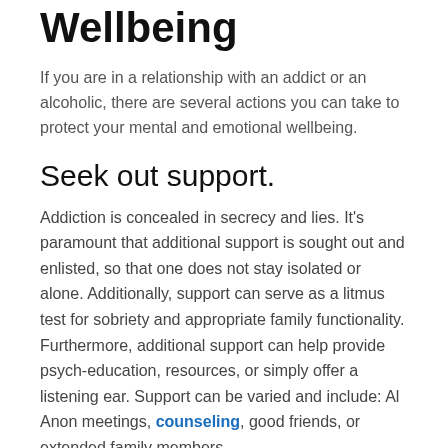Wellbeing
If you are in a relationship with an addict or an alcoholic, there are several actions you can take to protect your mental and emotional wellbeing.
Seek out support.
Addiction is concealed in secrecy and lies. It's paramount that additional support is sought out and enlisted, so that one does not stay isolated or alone. Additionally, support can serve as a litmus test for sobriety and appropriate family functionality. Furthermore, additional support can help provide psych-education, resources, or simply offer a listening ear. Support can be varied and include: Al Anon meetings, counseling, good friends, or extended family members.
Prioritize yourself.